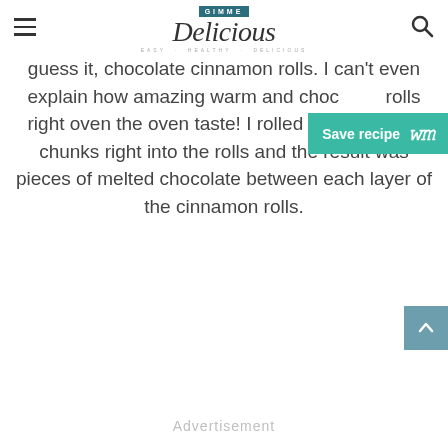GIMME Delicious — EASY · HEALTHY · DELICIOUS
guess it, chocolate cinnamon rolls. I can't even explain how amazing warm and choc[olate] rolls right oven the oven taste! I rolled big chocolate chunks right into the rolls and the result was pieces of melted chocolate between each layer of the cinnamon rolls.
Save recipe
Advertisement